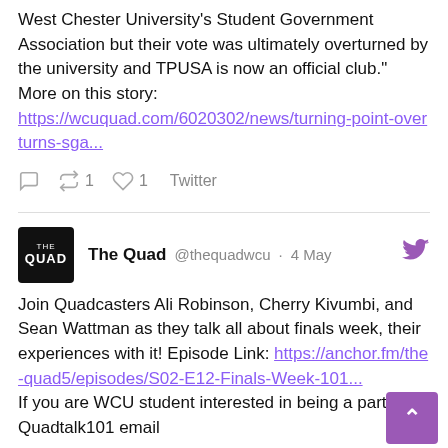West Chester University's Student Government Association but their vote was ultimately overturned by the university and TPUSA is now an official club." More on this story: https://wcuquad.com/6020302/news/turning-point-overturns-sga...
Twitter actions: reply, retweet 1, like 1, Twitter
The Quad @thequadwcu · 4 May
Join Quadcasters Ali Robinson, Cherry Kivumbi, and Sean Wattman as they talk all about finals week, their experiences with it! Episode Link: https://anchor.fm/the-quad5/episodes/S02-E12-Finals-Week-101... If you are WCU student interested in being a part of Quadtalk101 email